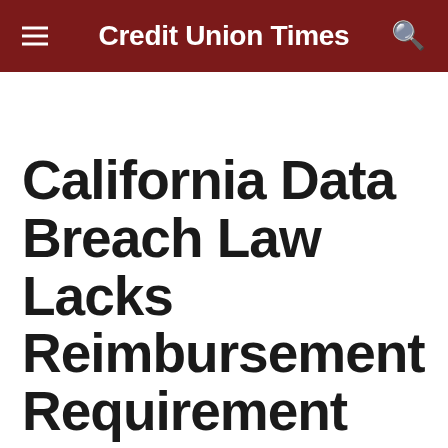Credit Union Times
California Data Breach Law Lacks Reimbursement Requirement
SACRAMENTO, Calif. -- The data breach